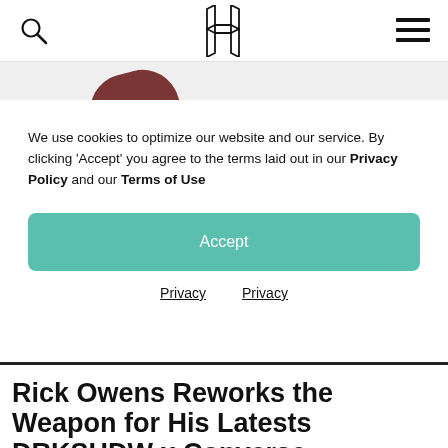Highsnobiety — search icon, logo, menu icon
[Figure (photo): Partial view of a dark burgundy/brown shoe against a light grey background]
We use cookies to optimize our website and our service. By clicking 'Accept' you agree to the terms laid out in our Privacy Policy and our Terms of Use
Accept
Privacy   Privacy
Rick Owens Reworks the Weapon for His Latests DRKSHDW x Converse Collaboration